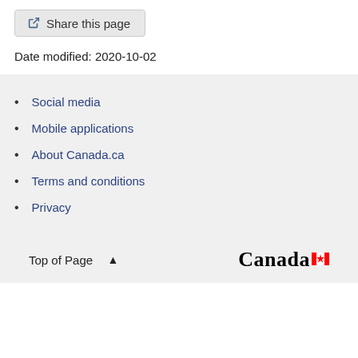Share this page
Date modified: 2020-10-02
Social media
Mobile applications
About Canada.ca
Terms and conditions
Privacy
Top of Page   Canada